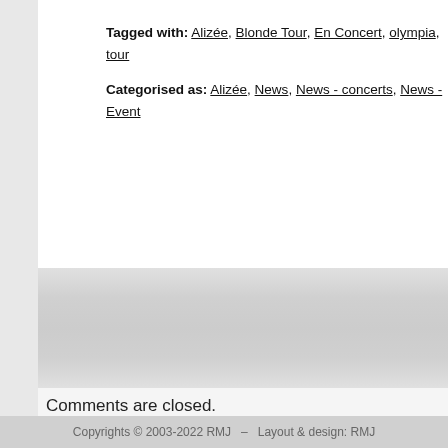Tagged with: Alizée, Blonde Tour, En Concert, olympia, tour
Categorised as: Alizée, News, News - concerts, News - Event
Comments are closed.
Copyrights © 2003-2022 RMJ  –  Layout & design: RMJ